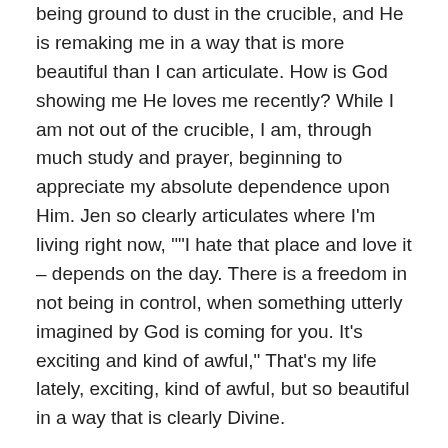being ground to dust in the crucible, and He is remaking me in a way that is more beautiful than I can articulate. How is God showing me He loves me recently? While I am not out of the crucible, I am, through much study and prayer, beginning to appreciate my absolute dependence upon Him. Jen so clearly articulates where I'm living right now, ""I hate that place and love it – depends on the day. There is a freedom in not being in control, when something utterly imagined by God is coming for you. It's exciting and kind of awful," That's my life lately, exciting, kind of awful, but so beautiful in a way that is clearly Divine.
Shelly, I love the way you've always challenged me, encouraged my faith, and helped me make sense of the quiet and the painful times when it didn't seem like God was around. What for me was interrupted? My arrogance and my pride, and even from a hurt and